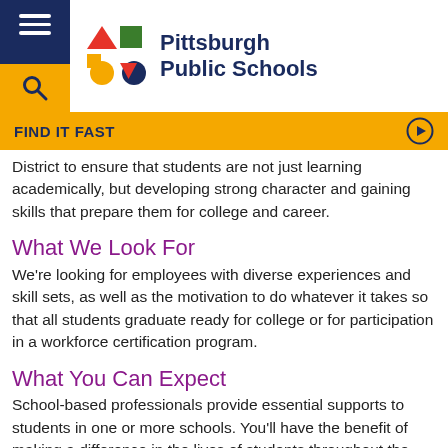[Figure (logo): Pittsburgh Public Schools logo with colorful geometric shapes and blue text]
FIND IT FAST
District to ensure that students are not just learning academically, but developing strong character and gaining skills that prepare them for college and career.
What We Look For
We're looking for employees with diverse experiences and skill sets, as well as the motivation to do whatever it takes so that all students graduate ready for college or for participation in a workforce certification program.
What You Can Expect
School-based professionals provide essential supports to students in one or more schools. You'll have the benefit of making a difference in the lives of students throughout the city who come from diverse